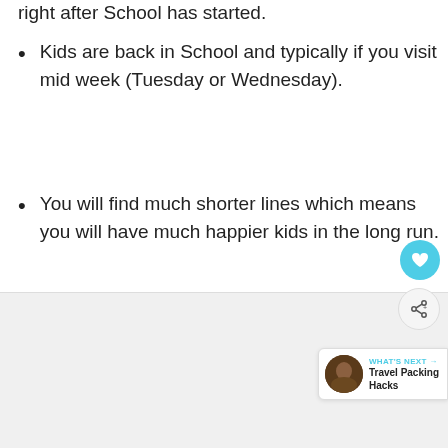right after School has started.
Kids are back in School and typically if you visit mid week (Tuesday or Wednesday).
You will find much shorter lines which means you will have much happier kids in the long run.
[Figure (photo): Image placeholder area at the bottom of the page with a 'What's Next' overlay showing Travel Packing Hacks]